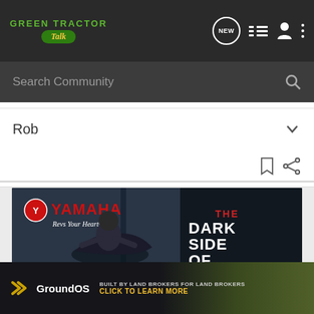Green Tractor Talk
Search Community
Rob
[Figure (screenshot): Yamaha advertisement showing a motorcyclist with text 'THE DARK SIDE OF' in bold stylized font on dark background, with Yamaha logo and 'Revs Your Heart' slogan]
[Figure (screenshot): GroundOS advertisement with text 'BUILT BY LAND BROKERS FOR LAND BROKERS' and 'CLICK TO LEARN MORE' in yellow, with GroundOS logo on dark background with landscape photo]